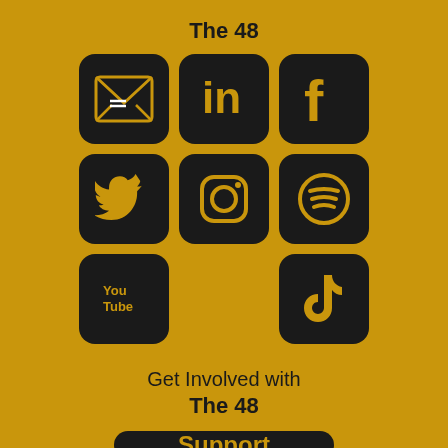The 48
[Figure (infographic): 3x3 grid of social media icons on black rounded square backgrounds: Email, LinkedIn, Facebook, Twitter, Instagram, Spotify, YouTube, (empty), TikTok]
Get Involved with The 48
[Figure (infographic): Black rounded rectangle button with gold text reading 'Support']